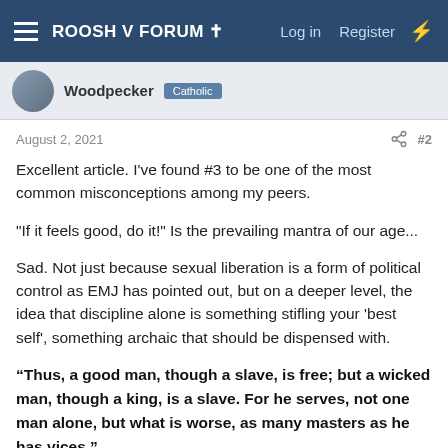ROOSH V FORUM ✝   Log in   Register
Woodpecker  Catholic
August 2, 2021  #2
Excellent article. I've found #3 to be one of the most common misconceptions among my peers.
"If it feels good, do it!" Is the prevailing mantra of our age...
Sad. Not just because sexual liberation is a form of political control as EMJ has pointed out, but on a deeper level, the idea that discipline alone is something stifling your 'best self', something archaic that should be dispensed with.
“Thus, a good man, though a slave, is free; but a wicked man, though a king, is a slave. For he serves, not one man alone, but what is worse, as many masters as he has vices.”